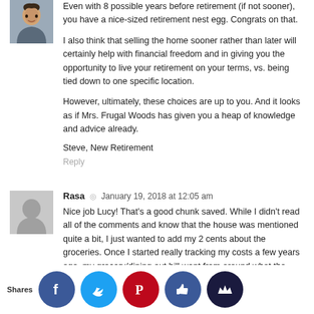[Figure (photo): Profile photo of Steve, a man smiling, appears in top-left]
Even with 8 possible years before retirement (if not sooner), you have a nice-sized retirement nest egg. Congrats on that.
I also think that selling the home sooner rather than later will certainly help with financial freedom and in giving you the opportunity to live your retirement on your terms, vs. being tied down to one specific location.
However, ultimately, these choices are up to you. And it looks as if Mrs. Frugal Woods has given you a heap of knowledge and advice already.
Steve, New Retirement
Reply
[Figure (photo): Generic grey silhouette avatar for user Rasa]
Rasa  ◎  January 19, 2018 at 12:05 am
Nice job Lucy! That's a good chunk saved. While I didn't read all of the comments and know that the house was mentioned quite a bit, I just wanted to add my 2 cents about the groceries. Once I started really tracking my costs a few years ago, my grocery/dining out bill went from around what the average is at $30. I realized that grocery, Chipotle, other snacks a few times a month had a huge impact on my true cost. I live...
Shares